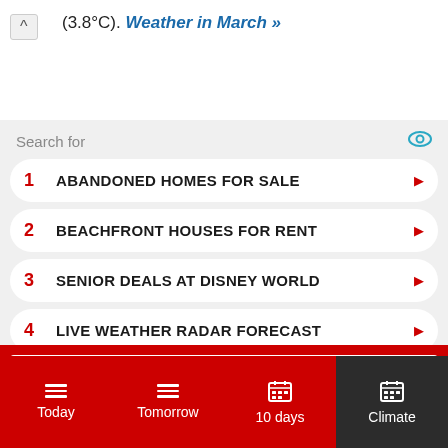(3.8°C). Weather in March »
Search for
1 ABANDONED HOMES FOR SALE
2 BEACHFRONT HOUSES FOR RENT
3 SENIOR DEALS AT DISNEY WORLD
4 LIVE WEATHER RADAR FORECAST
Climate data
Today | Tomorrow | 10 days | Climate